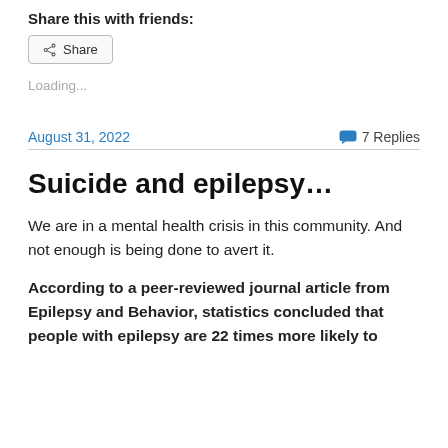Share this with friends:
[Figure (other): Share button with share icon]
Loading...
August 31, 2022
7 Replies
Suicide and epilepsy…
We are in a mental health crisis in this community. And not enough is being done to avert it.
According to a peer-reviewed journal article from Epilepsy and Behavior, statistics concluded that people with epilepsy are 22 times more likely to